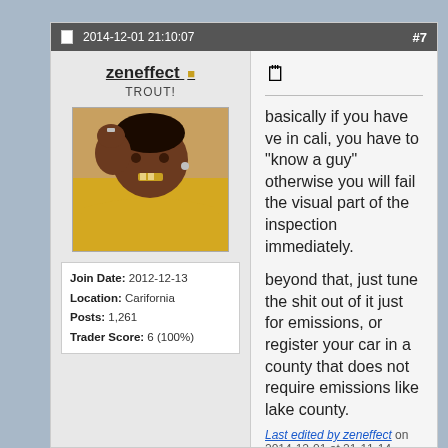2014-12-01 21:10:07  #7
zeneffect ★
TROUT!
[Figure (photo): Avatar photo of a man making a fist gesture toward camera, wearing yellow clothing]
| Join Date: | 2012-12-13 |
| Location: | Carifornia |
| Posts: | 1,261 |
| Trader Score: | 6 (100%) |
basically if you have ve in cali, you have to "know a guy" otherwise you will fail the visual part of the inspection immediately.

beyond that, just tune the shit out of it just for emissions, or register your car in a county that does not require emissions like lake county.
Last edited by zeneffect on 2014-12-01 at 21-11-14.
0 Likes